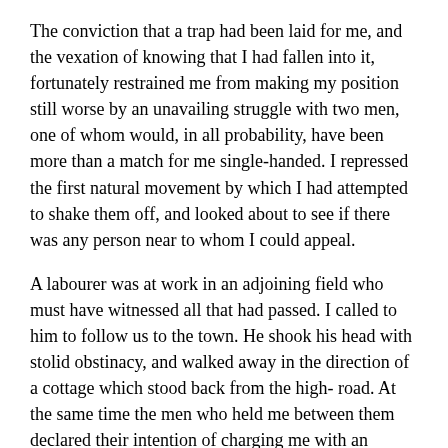The conviction that a trap had been laid for me, and the vexation of knowing that I had fallen into it, fortunately restrained me from making my position still worse by an unavailing struggle with two men, one of whom would, in all probability, have been more than a match for me single-handed. I repressed the first natural movement by which I had attempted to shake them off, and looked about to see if there was any person near to whom I could appeal.
A labourer was at work in an adjoining field who must have witnessed all that had passed. I called to him to follow us to the town. He shook his head with stolid obstinacy, and walked away in the direction of a cottage which stood back from the high- road. At the same time the men who held me between them declared their intention of charging me with an assault. I was cool enough and wise enough now to make no opposition. "Drop your hold of my arms," I said, "and I will go with you to the town." The man in the gamekeeper's dress roughly refused. But the shorter man was sharp enough to look to consequences, and not to let his companion commit himself by unnecessary violence. He made a sign to the other, and I walked on between them with my arms free.
We reached the turning in the road, and there, close before us, were